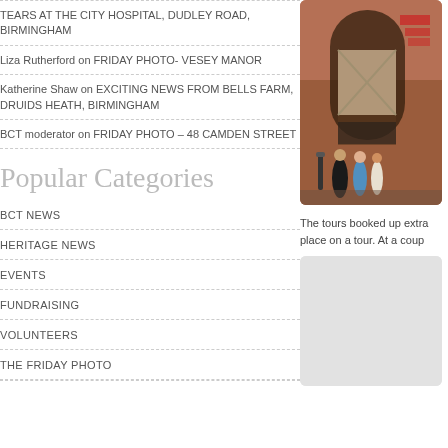TEARS AT THE CITY HOSPITAL, DUDLEY ROAD, BIRMINGHAM
Liza Rutherford on FRIDAY PHOTO- VESEY MANOR
Katherine Shaw on EXCITING NEWS FROM BELLS FARM, DRUIDS HEATH, BIRMINGHAM
BCT moderator on FRIDAY PHOTO – 48 CAMDEN STREET
Popular Categories
BCT NEWS
HERITAGE NEWS
EVENTS
FUNDRAISING
VOLUNTEERS
THE FRIDAY PHOTO
[Figure (photo): Photo of people outside a brick building with a boarded arch entrance, brick facade with red details]
The tours booked up extra place on a tour. At a coup
[Figure (photo): Light grey placeholder image box]